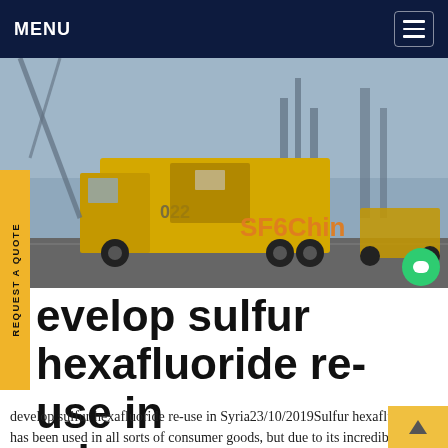MENU
[Figure (photo): Yellow utility/service trucks on a road near industrial infrastructure, with 'SF6China' watermark overlay in orange]
REQUEST A QUOTE
develop sulfur hexafluoride re-use in yria
develop sulfur hexafluoride re-use in Syria23/10/2019Sulfur hexafluoride has been used in all sorts of consumer goods, but due to its incredibly high global-warming potential, manufacturers are